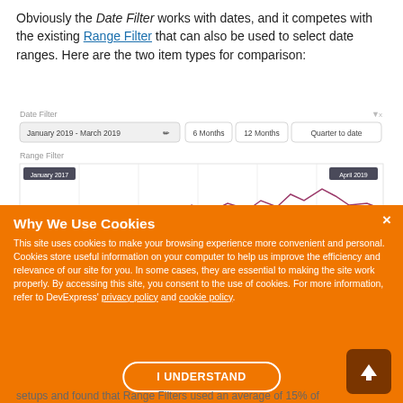Obviously the Date Filter works with dates, and it competes with the existing Range Filter that can also be used to select date ranges. Here are the two item types for comparison:
[Figure (screenshot): Screenshot of a Date Filter UI with a date range selector showing 'January 2019 - March 2019' and preset buttons '6 Months', '12 Months', 'Quarter to date', followed by a Range Filter with a line chart showing data from January 2017 to April 2019]
Why We Use Cookies
This site uses cookies to make your browsing experience more convenient and personal. Cookies store useful information on your computer to help us improve the efficiency and relevance of our site for you. In some cases, they are essential to making the site work properly. By accessing this site, you consent to the use of cookies. For more information, refer to DevExpress' privacy policy and cookie policy.
I UNDERSTAND
setups and found that Range Filters used an average of 15% of